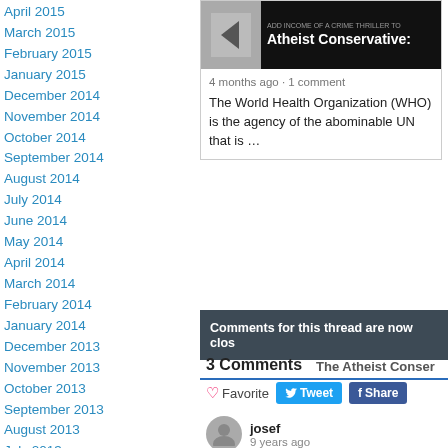April 2015
March 2015
February 2015
January 2015
December 2014
November 2014
October 2014
September 2014
August 2014
July 2014
June 2014
May 2014
April 2014
March 2014
February 2014
January 2014
December 2013
November 2013
October 2013
September 2013
August 2013
July 2013
June 2013
May 2013
April 2013
March 2013
February 2013
January 2013
December 2012
November 2012
October 2012
September 2012
[Figure (screenshot): Atheist Conservative article card with thumbnail arrow image and dark title bar]
4 months ago · 1 comment
The World Health Organization (WHO) is the agency of the abominable UN that is …
Comments for this thread are now clos
3 Comments    The Atheist Conser
Favorite   Tweet   Share
josef
9 years ago
It was a deliberate action, because the they tax the savings, they also put a ti out. In hungary they nationalized (sto more awful. Ot the other hand trusted